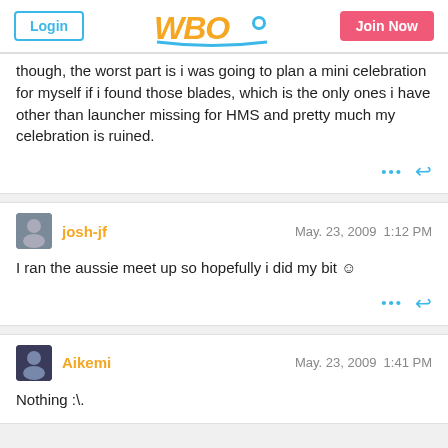WBO site header with Login and Join Now buttons
though, the worst part is i was going to plan a mini celebration for myself if i found those blades, which is the only ones i have other than launcher missing for HMS and pretty much my celebration is ruined.
josh-jf — May. 23, 2009 1:12 PM
I ran the aussie meet up so hopefully i did my bit :)
Aikemi — May. 23, 2009 1:41 PM
Nothing :\.